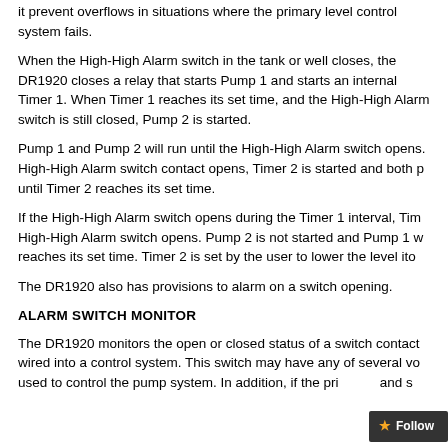it prevent overflows in situations where the primary level control system fails.
When the High-High Alarm switch in the tank or well closes, the DR1920 closes a relay that starts Pump 1 and starts an internal Timer 1. When Timer 1 reaches its set time, and the High-High Alarm switch is still closed, Pump 2 is started.
Pump 1 and Pump 2 will run until the High-High Alarm switch opens. High-High Alarm switch contact opens, Timer 2 is started and both p until Timer 2 reaches its set time.
If the High-High Alarm switch opens during the Timer 1 interval, Tim High-High Alarm switch opens. Pump 2 is not started and Pump 1 w reaches its set time. Timer 2 is set by the user to lower the level ito
The DR1920 also has provisions to alarm on a switch opening.
ALARM SWITCH MONITOR
The DR1920 monitors the open or closed status of a switch contact wired into a control system. This switch may have any of several vo used to control the pump system. In addition, if the pri and s